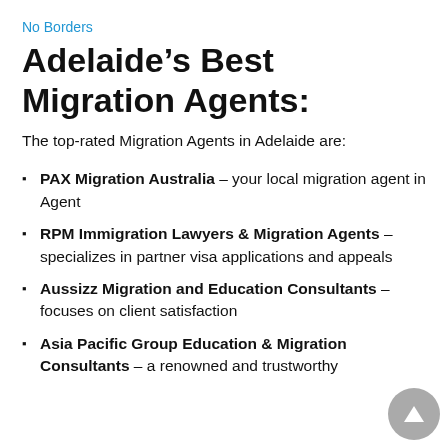No Borders
Adelaide’s Best Migration Agents:
The top-rated Migration Agents in Adelaide are:
PAX Migration Australia – your local migration agent in Agent
RPM Immigration Lawyers & Migration Agents – specializes in partner visa applications and appeals
Aussizz Migration and Education Consultants – focuses on client satisfaction
Asia Pacific Group Education & Migration Consultants – a renowned and trustworthy